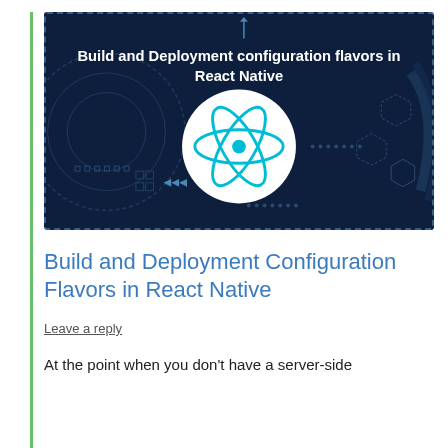[Figure (illustration): Dark navy blue banner image with circuit/tech background graphics, title text 'Build and Deployment configuration flavors in React Native' in white bold text, and a white circle containing the React logo (cyan atom symbol) in the center.]
Build and Deployment Configuration Flavors in React Native
Leave a reply
At the point when you don't have a server-side